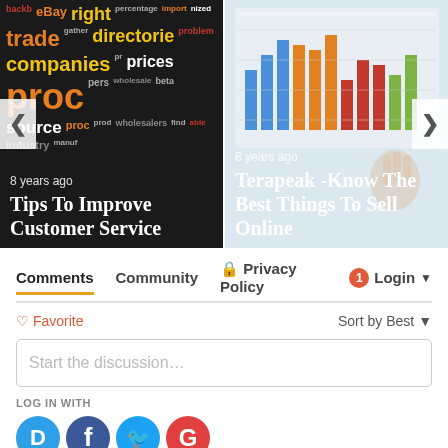[Figure (illustration): Carousel with two cards. Left card: word cloud with e-commerce terms on dark background, titled 'Tips To Improve Customer Service', posted 8 years ago. Right card: bar chart on laptop screen, titled 'Terapeak -Know The Best Things To Sell Online', posted 8 years ago. Navigation arrows on left and right sides.]
Comments  Community  🔒 Privacy Policy  1  Login
♡ Favorite  Sort by Best
Start the discussion…
LOG IN WITH
[Figure (illustration): Four social login icons: Disqus (blue circle with D), Facebook (dark blue circle with f), Twitter (light blue circle with bird), Google (red circle with G)]